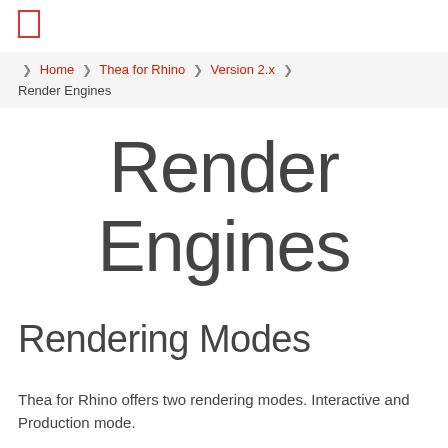[Figure (logo): Red outlined rectangle icon representing a page/document icon]
❯ Home ❯ Thea for Rhino ❯ Version 2.x ❯ Render Engines
Render Engines
Rendering Modes
Thea for Rhino offers two rendering modes. Interactive and Production mode.